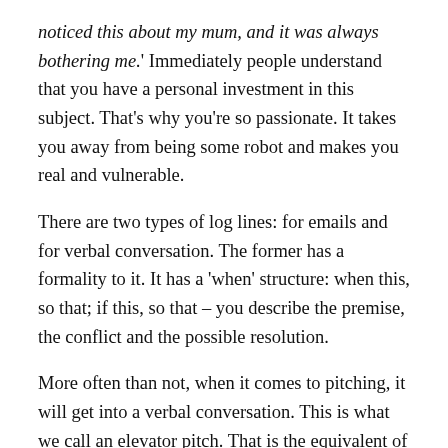noticed this about my mum, and it was always bothering me.' Immediately people understand that you have a personal investment in this subject. That's why you're so passionate. It takes you away from being some robot and makes you real and vulnerable.
There are two types of log lines: for emails and for verbal conversation. The former has a formality to it. It has a 'when' structure: when this, so that; if this, so that – you describe the premise, the conflict and the possible resolution.
More often than not, when it comes to pitching, it will get into a verbal conversation. This is what we call an elevator pitch. That is the equivalent of a log line. I'm in PVR Juhu, I enter the lift on the ground floor and I find myself standing next to Zoya (Akhtar). I'm like, 'Oh my God, she runs Tiger Baby. She may make my film.' Now, what do I do? I could either stand in the